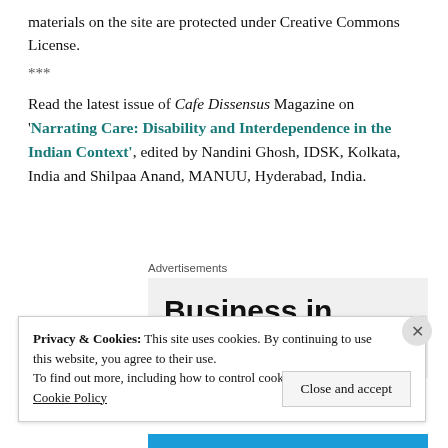materials on the site are protected under Creative Commons License.
***
Read the latest issue of Cafe Dissensus Magazine on 'Narrating Care: Disability and Interdependence in the Indian Context', edited by Nandini Ghosh, IDSK, Kolkata, India and Shilpaa Anand, MANUU, Hyderabad, India.
Advertisements
[Figure (screenshot): Advertisement banner showing text 'Business in the front...' in large bold black text on grey background]
Privacy & Cookies: This site uses cookies. By continuing to use this website, you agree to their use.
To find out more, including how to control cookies, see here: Cookie Policy
Close and accept